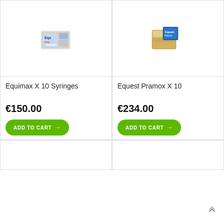[Figure (photo): Product image of Equimax X 10 Syringes box]
Equimax X 10 Syringes
€150.00
ADD TO CART →
[Figure (photo): Product image of Equest Pramox X 10 box]
Equest Pramox X 10
€234.00
ADD TO CART →